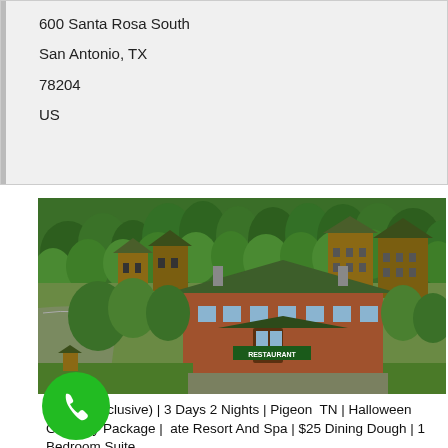600 Santa Rosa South
San Antonio, TX
78204
US
[Figure (photo): Aerial/elevated view of a large log-cabin style resort complex with green metal roofs surrounded by dense forest. Multiple multi-story lodge buildings visible on a hillside. A restaurant building is prominent in the foreground.]
$... (All Inclusive) | 3 Days 2 Nights | Pigeon TN | Halloween Getaway Package | ...ate Resort And Spa | $25 Dining Dough | 1 Bedroom Suite